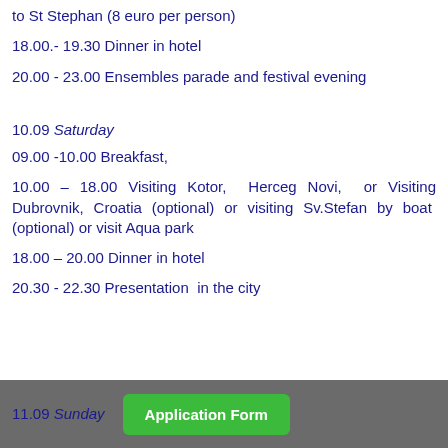to St Stephan (8 euro per person)
18.00.- 19.30 Dinner in hotel
20.00 - 23.00 Ensembles parade and festival evening
10.09 Saturday
09.00 -10.00 Breakfast,
10.00 – 18.00 Visiting Kotor, Herceg Novi, or Visiting Dubrovnik, Croatia (optional) or visiting Sv.Stefan by boat (optional) or visit Aqua park
18.00 – 20.00 Dinner in hotel
20.30 - 22.30 Presentation in the city
11.09 Sunday
09.00 -10.00 Breakfast,